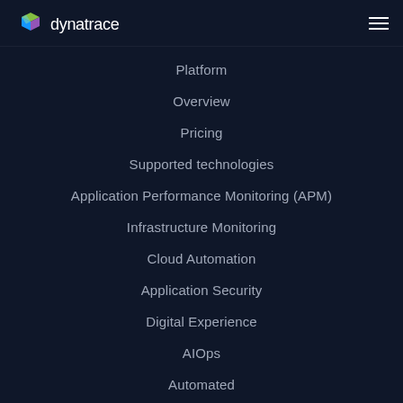dynatrace
Platform
Overview
Pricing
Supported technologies
Application Performance Monitoring (APM)
Infrastructure Monitoring
Cloud Automation
Application Security
Digital Experience
AIOps
Automated